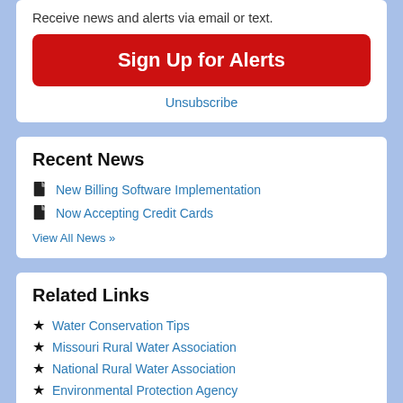Receive news and alerts via email or text.
Sign Up for Alerts
Unsubscribe
Recent News
New Billing Software Implementation
Now Accepting Credit Cards
View All News »
Related Links
Water Conservation Tips
Missouri Rural Water Association
National Rural Water Association
Environmental Protection Agency
Missouri American Water
Rock Creek Public Sewer District